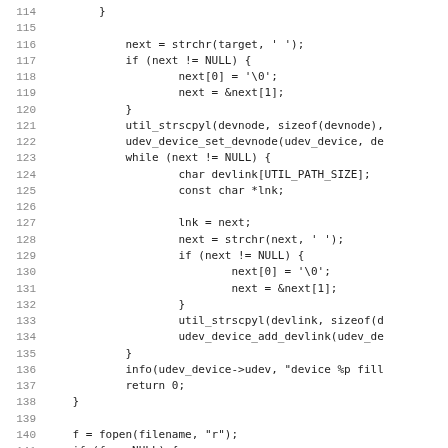Source code listing, lines 114-146, C code for udev device handling
114:         }
115: (blank)
116:             next = strchr(target, ' ');
117:             if (next != NULL) {
118:                     next[0] = '\0';
119:                     next = &next[1];
120:             }
121:             util_strscpyl(devnode, sizeof(devnode),
122:             udev_device_set_devnode(udev_device, de
123:             while (next != NULL) {
124:                     char devlink[UTIL_PATH_SIZE];
125:                     const char *lnk;
126: (blank)
127:                     lnk = next;
128:                     next = strchr(next, ' ');
129:                     if (next != NULL) {
130:                             next[0] = '\0';
131:                             next = &next[1];
132:                     }
133:                     util_strscpyl(devlink, sizeof(d
134:                     udev_device_add_devlink(udev_de
135:             }
136:             info(udev_device->udev, "device %p fill
137:             return 0;
138:     }
139: (blank)
140:     f = fopen(filename, "r");
141:     if (f == NULL) {
142:             dbg(udev_device->udev, "error reading d
143:             return -1;
144:     }
145:     while (fgets(line, sizeof(line), f)) {
146:             ssize_t len;